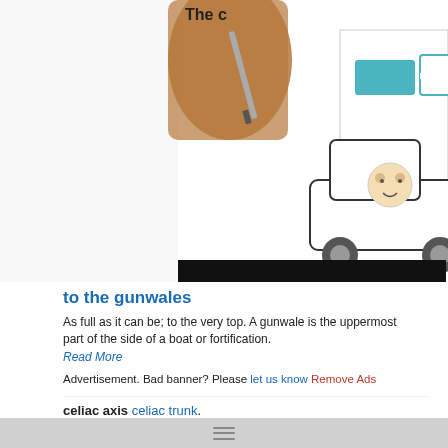[Figure (screenshot): Screenshot of an animated video showing a cartoon bear driving a car with boxes on top, and a hand holding a pen writing 'The c...' — appears to be a Farlex dictionary advertisement.]
to the gunwales
As full as it can be; to the very top. A gunwale is the uppermost part of the side of a boat or fortification.
Read More
Advertisement. Bad banner? Please let us know Remove Ads
celiac axis celiac trunk.
dorsoventral axis one passing from the posterior to the anterior surface of the body.
electrical axis of heart the preponderant direction of current flow through the heart, a consequence of the electromotive forces within the heart. It may be computed on either an instantaneous basis or a mean basis.